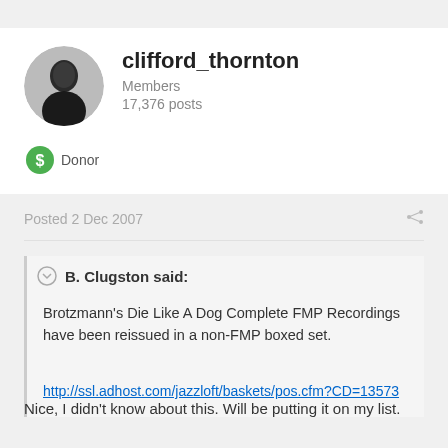clifford_thornton
Members
17,376 posts
Donor
Posted 2 Dec 2007
B. Clugston said:
Brotzmann's Die Like A Dog Complete FMP Recordings have been reissued in a non-FMP boxed set.
http://ssl.adhost.com/jazzloft/baskets/pos.cfm?CD=13573
Nice, I didn't know about this. Will be putting it on my list.